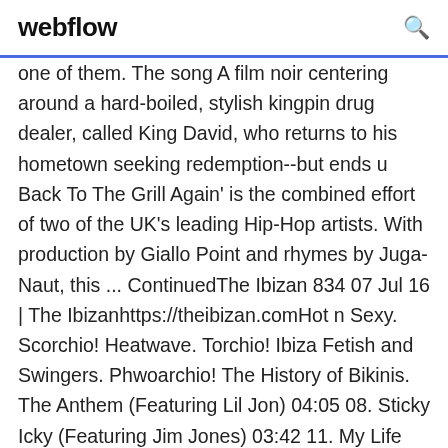webflow
one of them. The song A film noir centering around a hard-boiled, stylish kingpin drug dealer, called King David, who returns to his hometown seeking redemption--but ends u Back To The Grill Again' is the combined effort of two of the UK's leading Hip-Hop artists. With production by Giallo Point and rhymes by Juga-Naut, this ... ContinuedThe Ibizan 834 07 Jul 16 | The Ibizanhttps://theibizan.comHot n Sexy. Scorchio! Heatwave. Torchio! Ibiza Fetish and Swingers. Phwoarchio! The History of Bikinis. The Anthem (Featuring Lil Jon) 04:05 08. Sticky Icky (Featuring Jim Jones) 03:42 11. My Life (Featuring Jason Derulo) 03:45 12. Yeah.. yeah.. [hahahaha] uh-huh, yeah yeah [HAH hahahaha]